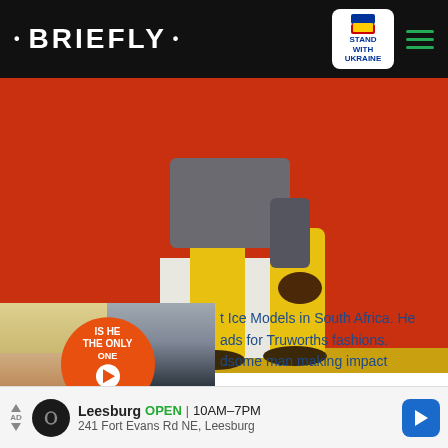• BRIEFLY •
[Figure (photo): Man wearing yellow pants and grey blazer sitting against orange and red background]
[Figure (screenshot): Video ad overlay showing two people with orange circle containing text 'IS HE THE ONLY ONE TO BLAME?' with play button]
Ice Models in South Africa. He ads for Truworths fashions. dsome man making impact
[Figure (other): Bottom advertisement banner: Leesburg OPEN 10AM-7PM, 241 Fort Evans Rd NE, Leesburg]